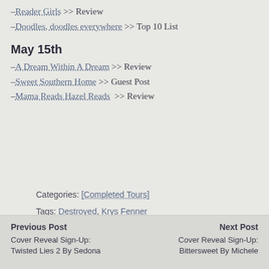–Reader Girls >> Review
–Doodles, doodles everywhere >> Top 10 List
May 15th
–A Dream Within A Dream >> Review
–Sweet Southern Home >> Guest Post
–Mama Reads Hazel Reads >> Review
Categories: [Completed Tours]
Tags: Destroyed, Krys Fenner
Previous Post
Cover Reveal Sign-Up: Twisted Lies 2 By Sedona

Next Post
Cover Reveal Sign-Up: Bittersweet By Michele